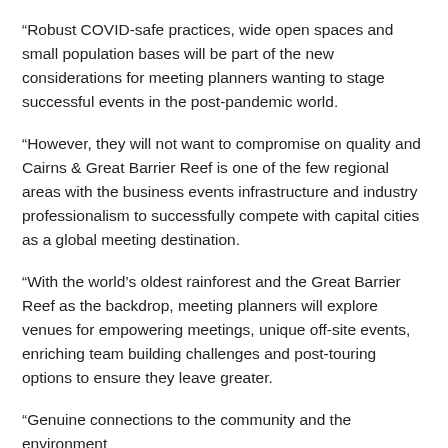“Robust COVID-safe practices, wide open spaces and small population bases will be part of the new considerations for meeting planners wanting to stage successful events in the post-pandemic world.
“However, they will not want to compromise on quality and Cairns & Great Barrier Reef is one of the few regional areas with the business events infrastructure and industry professionalism to successfully compete with capital cities as a global meeting destination.
“With the world’s oldest rainforest and the Great Barrier Reef as the backdrop, meeting planners will explore venues for empowering meetings, unique off-site events, enriching team building challenges and post-touring options to ensure they leave greater.
“Genuine connections to the community and the environment